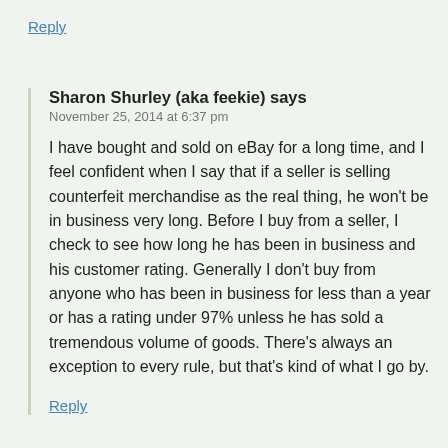Reply
Sharon Shurley (aka feekie) says
November 25, 2014 at 6:37 pm
I have bought and sold on eBay for a long time, and I feel confident when I say that if a seller is selling counterfeit merchandise as the real thing, he won't be in business very long. Before I buy from a seller, I check to see how long he has been in business and his customer rating. Generally I don't buy from anyone who has been in business for less than a year or has a rating under 97% unless he has sold a tremendous volume of goods. There's always an exception to every rule, but that's kind of what I go by.
Reply